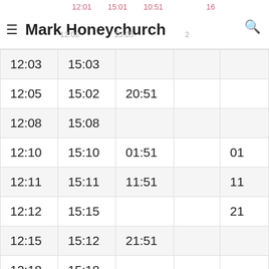Mark Honeychurch
| Col1 | Col2 | Col3 | Col4 | Col5 |
| --- | --- | --- | --- | --- |
| 12:02 | 15:05 |  |  | 20 |
| 12:03 | 15:03 |  |  |  |
| 12:05 | 15:02 | 20:51 |  |  |
| 12:08 | 15:08 |  |  |  |
| 12:10 | 15:10 | 01:51 |  | 01 |
| 12:11 | 15:11 | 11:51 |  | 11 |
| 12:12 | 15:15 |  |  | 21 |
| 12:15 | 15:12 | 21:51 |  |  |
| 12:18 | 15:18 |  |  |  |
| 12:20 | 15:50 | 05:51 |  | 02 |
| 12:21 | 15:51 | 15:51 |  | 12 |